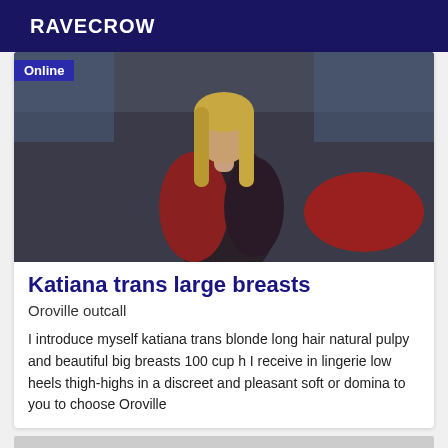RAVECROW
[Figure (photo): Photo of a blonde woman with long hair wearing a black top and red jacket, seated indoors. An 'Online' badge overlays the top-left corner.]
Katiana trans large breasts
Oroville outcall
I introduce myself katiana trans blonde long hair natural pulpy and beautiful big breasts 100 cup h I receive in lingerie low heels thigh-highs in a discreet and pleasant soft or domina to you to choose Oroville